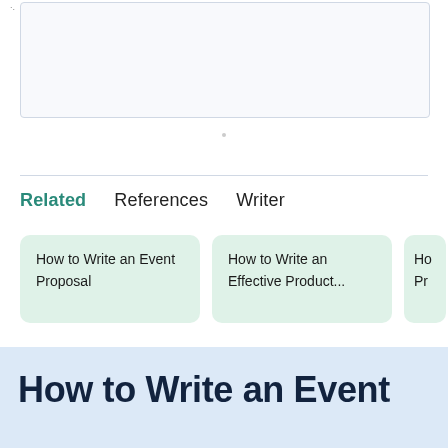[Figure (other): A light gray bordered box at the top of the page, representing a UI content area or placeholder]
Related	References	Writer
How to Write an Event Proposal
How to Write an Effective Product...
Ho... Pr...
How to Write an Event